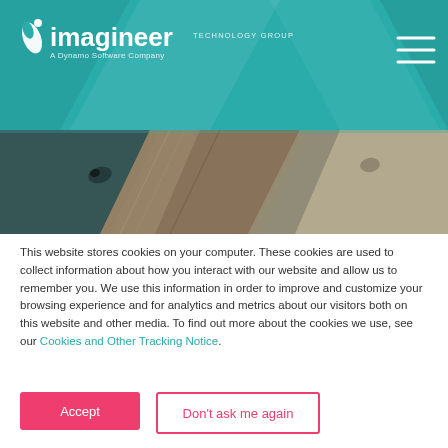[Figure (logo): Imagineer Technology Group logo with teal header background and geometric diamond shapes. White logo with stylized pen/leaf icon and company name. Hamburger menu icon in top right.]
[Figure (photo): Wood texture background photo showing diagonal planks of various wood colors — dark, light, and grey tones arranged in a geometric diagonal pattern.]
This website stores cookies on your computer. These cookies are used to collect information about how you interact with our website and allow us to remember you. We use this information in order to improve and customize your browsing experience and for analytics and metrics about our visitors both on this website and other media. To find out more about the cookies we use, see our Cookies and Other Tracking Notice.
Accept
Don't ask me again